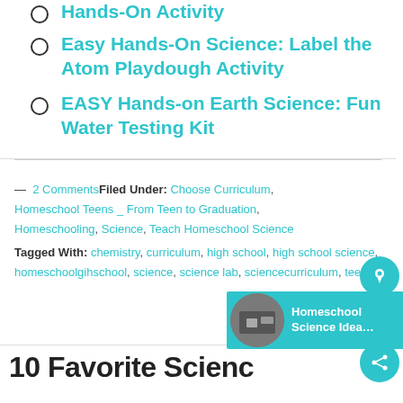Easy Hands-On Science: Label the Atom Playdough Activity
EASY Hands-on Earth Science: Fun Water Testing Kit
— 2 Comments Filed Under: Choose Curriculum, Homeschool Teens _ From Teen to Graduation, Homeschooling, Science, Teach Homeschool Science Tagged With: chemistry, curriculum, high school, high school science, homeschoolgihschool, science, science lab, sciencecurriculum, teens
10 Favorite Scienc...